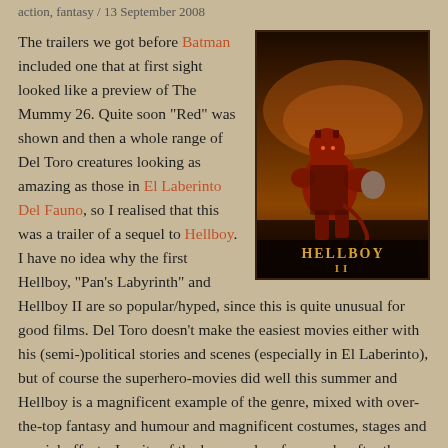action, fantasy / 13 September 2008
The trailers we got before Batman included one that at first sight looked like a preview of The Mummy 26. Quite soon “Red” was shown and then a whole range of Del Toro creatures looking as amazing as those in El Laberinto Del Fauno, so I realised that this was a trailer of a sequel to Hellboy. I have no idea why the first Hellboy, “Pan’s Labyrinth” and Hellboy II are so popular/hyped, since this is quite unusual for good films. Del Toro doesn’t make the easiest movies either with his (semi-)political stories and scenes (especially in El Laberinto), but of course the superhero-movies did well this summer and Hellboy is a magnificent example of the genre, mixed with over-the-top fantasy and humour and magnificent costumes, stages and special-effects. Inspite of the hype, only a few weeks after the premiere, it is already hard to see this film on the big screen, so we went at the impossible time of 17.00 (or 5 pm for
[Figure (photo): Hellboy II movie poster showing a red demon figure in dark dramatic lighting with the text HELLBOY II at the bottom]